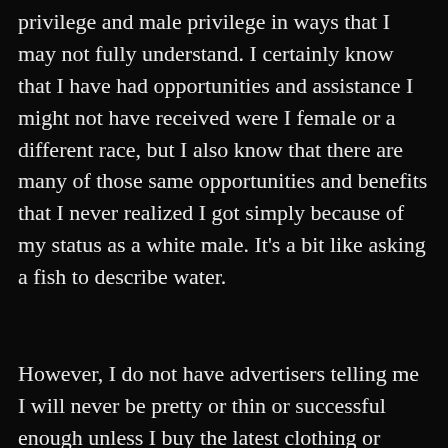privilege and male privilege in ways that I may not fully understand.  I certainly know that I have had opportunities and assistance I might not have received were I female or a different race, but I also know that there are many of those same opportunities and benefits that I never realized I got simply because of my status as a white male.  It's a bit like asking a fish to describe water.
However, I do not have advertisers telling me I will never be pretty or thin or successful enough unless I buy the latest clothing or makeup or jewelry (at least, not to the same degree).  I am not a victim of the subtle sexism of lowered expectations.  I do not have to deal with stereotyping from those who think I...